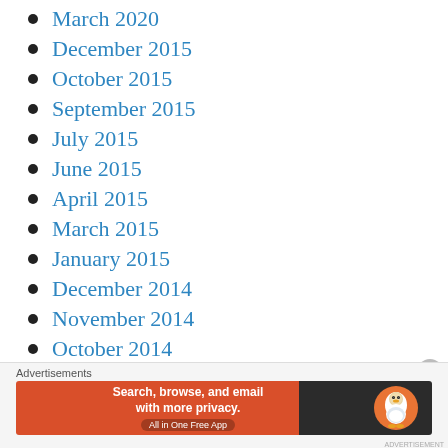March 2020
December 2015
October 2015
September 2015
July 2015
June 2015
April 2015
March 2015
January 2015
December 2014
November 2014
October 2014
September 2014
August 2014
Advertisements
[Figure (infographic): DuckDuckGo advertisement banner: 'Search, browse, and email with more privacy. All in One Free App' with DuckDuckGo logo on dark background.]